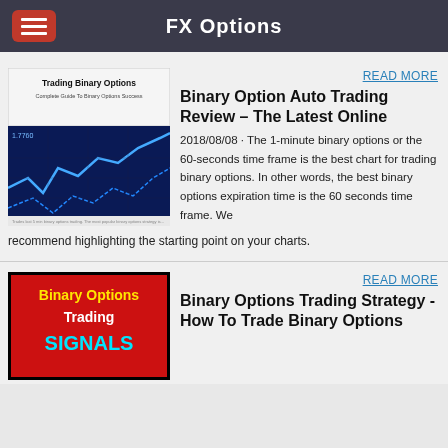FX Options
READ MORE
[Figure (screenshot): Book cover: Trading Binary Options - Complete Guide To Binary Options Success, with a blue financial chart below it]
Binary Option Auto Trading Review – The Latest Online
2018/08/08 · The 1-minute binary options or the 60-seconds time frame is the best chart for trading binary options. In other words, the best binary options expiration time is the 60 seconds time frame. We recommend highlighting the starting point on your charts.
READ MORE
[Figure (screenshot): Binary Options Trading Signals - red background with yellow and cyan text]
Binary Options Trading Strategy - How To Trade Binary Options